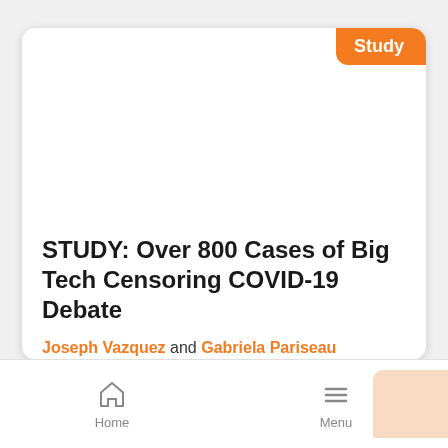[Figure (other): Article card with orange Study badge in top right corner and white image area]
STUDY: Over 800 Cases of Big Tech Censoring COVID-19 Debate
Joseph Vazquez and Gabriela Pariseau
Home  Menu